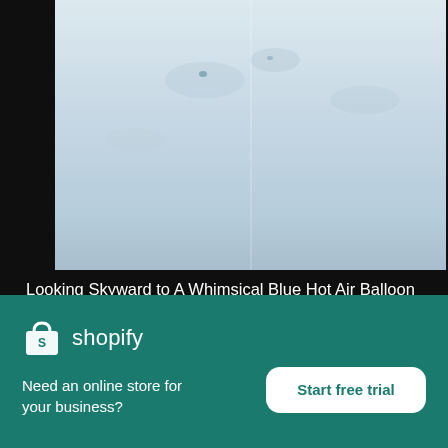[Figure (photo): Aerial view looking skyward at a blue hot air balloon against pale sky, partial view]
Looking Skyward to A Whimsical Blue Hot Air Balloon
High resolution download ↓
[Figure (photo): Ground level landscape/terrain photo strip]
[Figure (logo): Shopify logo - shopping bag icon with 'shopify' wordmark in white]
Need an online store for your business?
Start free trial